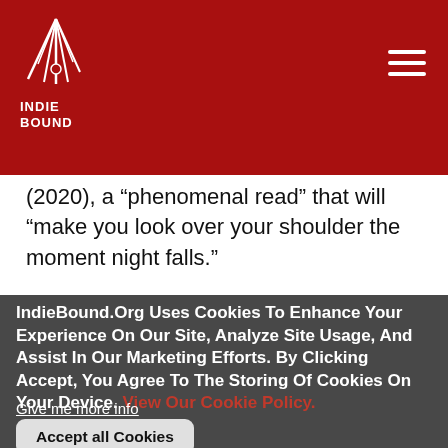[Figure (logo): IndieBound logo with stylized feather/book graphic above text INDIE BOUND on dark red header bar]
(2020), a “phenomenal read” that will “make you look over your shoulder the moment night falls.”
IndieBound.Org Uses Cookies To Enhance Your Experience On Our Site, Analyze Site Usage, And Assist In Our Marketing Efforts. By Clicking Accept, You Agree To The Storing Of Cookies On Your Device. View Our Cookie Policy.
Give me more info
Accept all Cookies